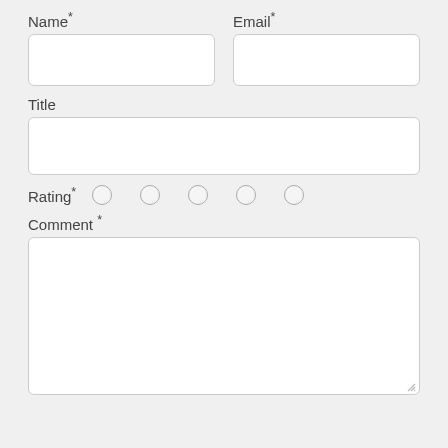Name*
Email*
Title
Rating*
Comment *